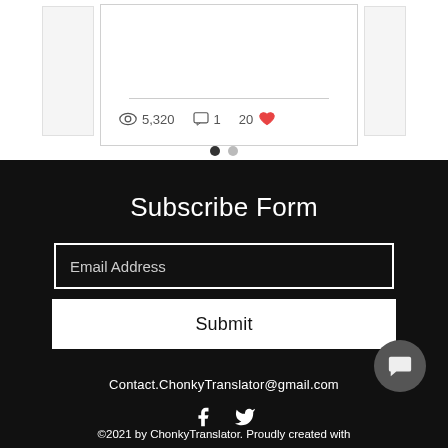5,320 views · 1 comment · 20 likes
[Figure (infographic): Pagination dots: one filled dark dot and one grey dot indicating slide position]
Subscribe Form
Email Address
Submit
Contact.ChonkyTranslator@gmail.com
[Figure (illustration): Social media icons: Facebook (f) and Twitter bird icon in white]
[Figure (illustration): Dark grey circular chat bubble button in bottom right]
©2021 by ChonkyTranslator. Proudly created with